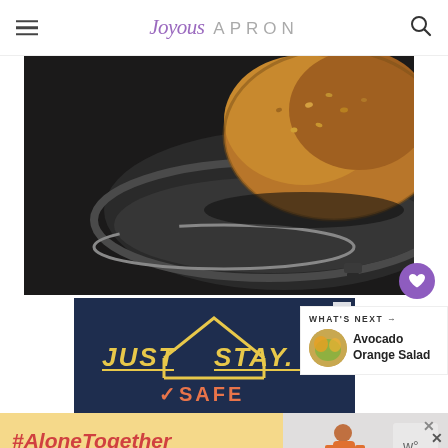Joyous APRON
[Figure (photo): Close-up photo of a golden-brown baked good (bagel or roll) sitting on a dark round pan/skillet, shot with a shallow depth of field on a dark background]
[Figure (photo): Advertisement banner with dark navy background showing hand-drawn style text 'JUST STAY SAFE' with a house outline illustration]
[Figure (photo): What's Next panel showing a circular thumbnail of Avocado Orange Salad]
[Figure (photo): Bottom banner showing '#AloneTogether' text in red italic on yellow background, with a woman cooking image on the right]